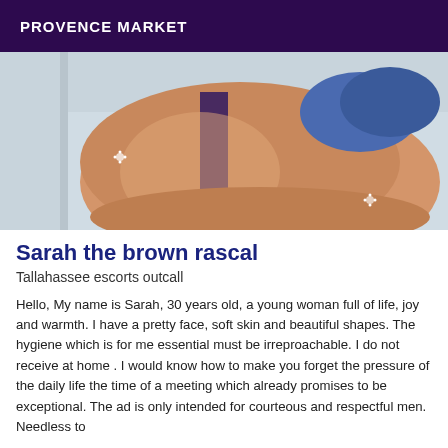PROVENCE MARKET
[Figure (photo): Close-up photo of a person in a bathtub from behind, wearing a bra, with blue hair visible.]
Sarah the brown rascal
Tallahassee escorts outcall
Hello, My name is Sarah, 30 years old, a young woman full of life, joy and warmth. I have a pretty face, soft skin and beautiful shapes. The hygiene which is for me essential must be irreproachable. I do not receive at home . I would know how to make you forget the pressure of the daily life the time of a meeting which already promises to be exceptional. The ad is only intended for courteous and respectful men. Needless to